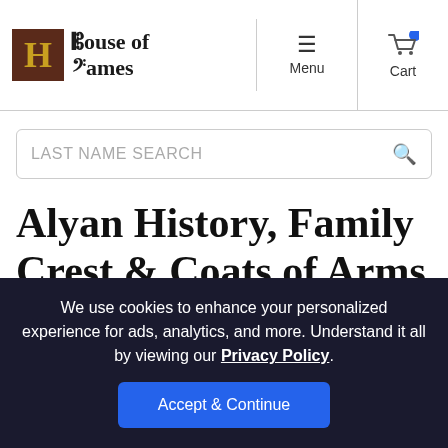House of Names — Menu | Cart
LAST NAME SEARCH
Alyan History, Family Crest & Coats of Arms
Origins Available: England Ireland
We use cookies to enhance your personalized experience for ads, analytics, and more. Understand it all by viewing our Privacy Policy.
Accept & Continue